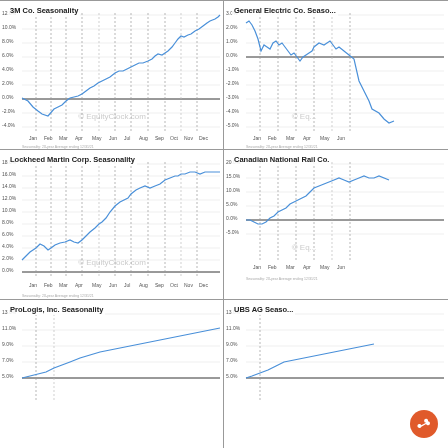[Figure (continuous-plot): Seasonality chart for 3M Co. showing monthly performance from Jan to Dec. Line starts near 0% in Jan, dips to -2% in Feb, then rises steadily to about 10-12% by Dec.]
[Figure (continuous-plot): Seasonality chart for General Electric Co. showing volatile performance from Jan to Jun+. Line oscillates between -4% and 2%, ending around -3% to -4%.]
[Figure (continuous-plot): Seasonality chart for Lockheed Martin showing monthly performance Jan to Dec. Rises from 2% in Jan, peaks near 5% in Feb-Mar, then rises again to about 16% by Dec.]
[Figure (continuous-plot): Seasonality chart for Canadian National Rail Co. from Jan to Jun+. Starts near 0%, rises to about 13% by May-Jun.]
[Figure (continuous-plot): Seasonality chart for ProLogis, Inc. Partial chart visible.]
[Figure (continuous-plot): Seasonality chart for UBS AG. Partial chart visible.]